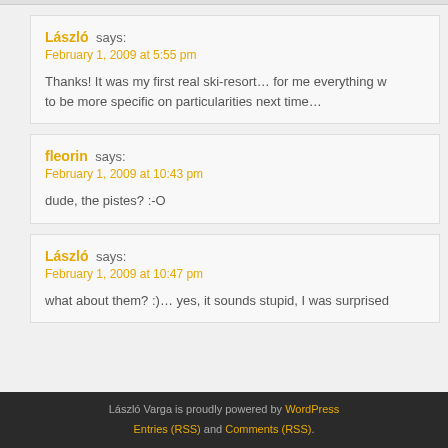László says: February 1, 2009 at 5:55 pm
Thanks! It was my first real ski-resort… for me everything w… to be more specific on particularities next time…
fleorin says: February 1, 2009 at 10:43 pm
dude, the pistes? :-O
László says: February 1, 2009 at 10:47 pm
what about them? :)… yes, it sounds stupid, I was surprised…
László Varga is proudly powered by WordPress
Entries (RSS) and Comments (RSS).